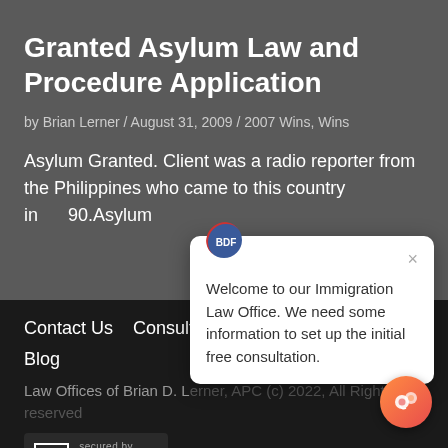Granted Asylum Law and Procedure Application
by Brian Lerner / August 31, 2009 / 2007 Wins, Wins
Asylum Granted. Client was a radio reporter from the Philippines who came to this country in 1990.Asylum application was...
Contact Us   Consultation
Blog
Law Offices of Brian D. Lerner, APC (c) 2022, All Rights reserved
[Figure (logo): Sucuri security badge with S+ logo and 'secured by sucuri' text]
Welcome to our Immigration Law Office. We need some information to set up the initial free consultation.